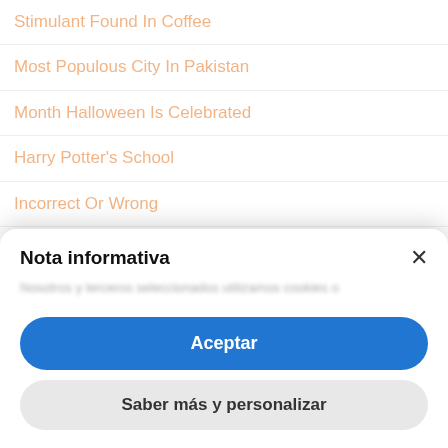Stimulant Found In Coffee
Most Populous City In Pakistan
Month Halloween Is Celebrated
Harry Potter's School
Incorrect Or Wrong
A Pen Where Ink Is Rolled Through A Metal Sphere
Eighth And Last Leader Of The Soviet Union
Nota informativa
Nosotros y terceros seleccionados utilizamos cookies o...
Aceptar
Saber más y personalizar